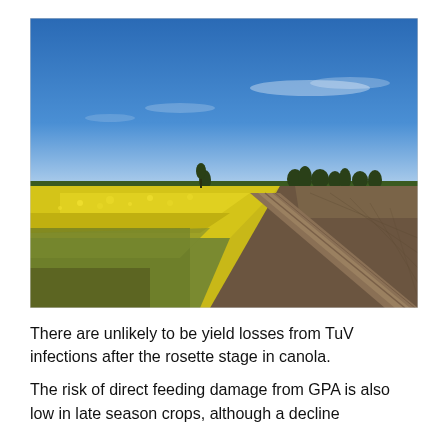[Figure (photo): A canola field in full yellow bloom stretching across the left and centre of the frame, with a dirt farm track running diagonally from the foreground right to the horizon. Clear blue sky with light cloud streaks above.]
There are unlikely to be yield losses from TuV infections after the rosette stage in canola.
The risk of direct feeding damage from GPA is also low in late season crops, although a decline